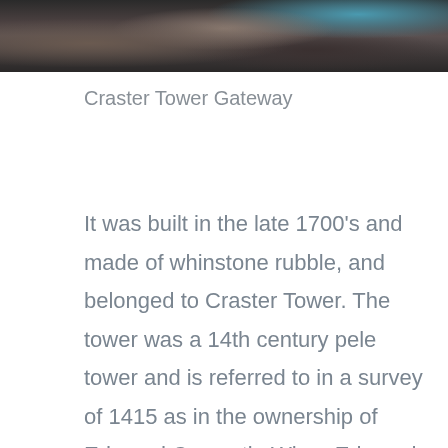[Figure (photo): Top portion of a photo showing a dark scene, possibly a stone tower gateway or entrance at night or in low light]
Craster Tower Gateway
It was built in the late 1700's and made of whinstone rubble, and belonged to Craster Tower. The tower was a 14th century pele tower and is referred to in a survey of 1415 as in the ownership of Edmund Crasestir. When Edmund died the tower remained in the Craster family and a two storey